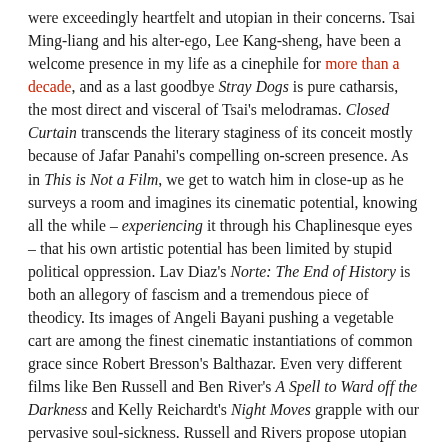were exceedingly heartfelt and utopian in their concerns. Tsai Ming-liang and his alter-ego, Lee Kang-sheng, have been a welcome presence in my life as a cinephile for more than a decade, and as a last goodbye Stray Dogs is pure catharsis, the most direct and visceral of Tsai's melodramas. Closed Curtain transcends the literary staginess of its conceit mostly because of Jafar Panahi's compelling on-screen presence. As in This is Not a Film, we get to watch him in close-up as he surveys a room and imagines its cinematic potential, knowing all the while – experiencing it through his Chaplinesque eyes – that his own artistic potential has been limited by stupid political oppression. Lav Diaz's Norte: The End of History is both an allegory of fascism and a tremendous piece of theodicy. Its images of Angeli Bayani pushing a vegetable cart are among the finest cinematic instantiations of common grace since Robert Bresson's Balthazar. Even very different films like Ben Russell and Ben River's A Spell to Ward off the Darkness and Kelly Reichardt's Night Moves grapple with our pervasive soul-sickness. Russell and Rivers propose utopian communities and spiritual/aesthetic ecstasy as alternatives; Reichardt's approach is more cynical and existential: she reinvigorates well-worn